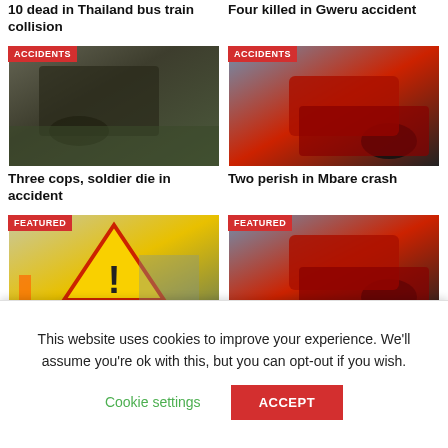10 dead in Thailand bus train collision
Four killed in Gweru accident
[Figure (photo): Crashed vehicle wreckage at accident scene with badge 'ACCIDENTS']
[Figure (photo): Wrecked red car with badge 'ACCIDENTS']
Three cops, soldier die in accident
Two perish in Mbare crash
[Figure (photo): Warning triangle accident sign with emergency responders in background, badge 'FEATURED']
[Figure (photo): Damaged red car, badge 'FEATURED']
This website uses cookies to improve your experience. We'll assume you're ok with this, but you can opt-out if you wish.
Cookie settings
ACCEPT